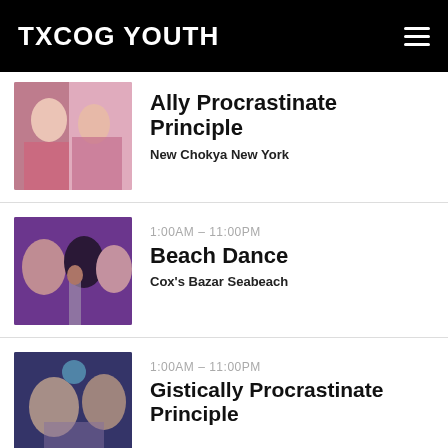TXCOG YOUTH
Ally Procrastinate Principle
New Chokya New York
1:00AM - 11:00PM
Beach Dance
Cox's Bazar Seabeach
1:00AM - 11:00PM
Gistically Procrastinate Principle